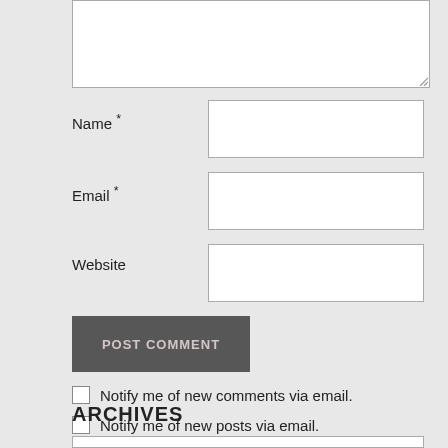[Figure (screenshot): Textarea input box (empty, white background, gray border with resize handle at bottom-right)]
Name *
[Figure (screenshot): Text input field for Name]
Email *
[Figure (screenshot): Text input field for Email]
Website
[Figure (screenshot): Text input field for Website]
POST COMMENT
Notify me of new comments via email.
Notify me of new posts via email.
ARCHIVES